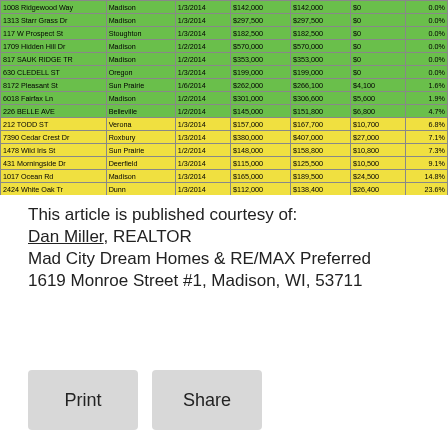| Address | City | Date | List Price | Sale Price | Diff | % |
| --- | --- | --- | --- | --- | --- | --- |
| 1008 Ridgewood Way | Madison | 1/3/2014 | $142,000 | $142,000 | $0 | 0.0% |
| 1313 Starr Grass Dr | Madison | 1/3/2014 | $297,500 | $297,500 | $0 | 0.0% |
| 117 W Prospect St | Stoughton | 1/3/2014 | $182,500 | $182,500 | $0 | 0.0% |
| 1709 Hidden Hill Dr | Madison | 1/2/2014 | $570,000 | $570,000 | $0 | 0.0% |
| 817 SAUK RIDGE TR | Madison | 1/2/2014 | $353,000 | $353,000 | $0 | 0.0% |
| 630 CLEDELL ST | Oregon | 1/3/2014 | $199,000 | $199,000 | $0 | 0.0% |
| 8172 Pleasant St | Sun Prairie | 1/6/2014 | $262,000 | $266,100 | $4,100 | 1.6% |
| 6018 Fairfax Ln | Madison | 1/2/2014 | $301,000 | $306,600 | $5,600 | 1.9% |
| 226 BELLE AVE | Belleville | 1/2/2014 | $145,000 | $151,800 | $6,800 | 4.7% |
| 212 TODD ST | Verona | 1/3/2014 | $157,000 | $167,700 | $10,700 | 6.8% |
| 7390 Cedar Crest Dr | Roxbury | 1/3/2014 | $380,000 | $407,000 | $27,000 | 7.1% |
| 1478 Wild Iris St | Sun Prairie | 1/2/2014 | $148,000 | $158,800 | $10,800 | 7.3% |
| 431 Morningside Dr | Deerfield | 1/3/2014 | $115,000 | $125,500 | $10,500 | 9.1% |
| 1017 Ocean Rd | Madison | 1/3/2014 | $165,000 | $189,500 | $24,500 | 14.8% |
| 2424 White Oak Tr | Dunn | 1/3/2014 | $112,000 | $138,400 | $26,400 | 23.6% |
| 113 Porter St | Marshall | 1/3/2014 | $43,857 | $64,600 | $20,743 | 47.3% |
| 223 E Netherwood St | Oregon | 1/2/2014 | $109,255 | $162,500 | $53,245 | 48.7% |
| 504 Albion Rd | Albion | 1/3/2014 | $57,000 | $138,600 | $81,600 | 142.2% |
This article is published courtesy of:
Dan Miller, REALTOR
Mad City Dream Homes & RE/MAX Preferred
1619 Monroe Street #1, Madison, WI, 53711